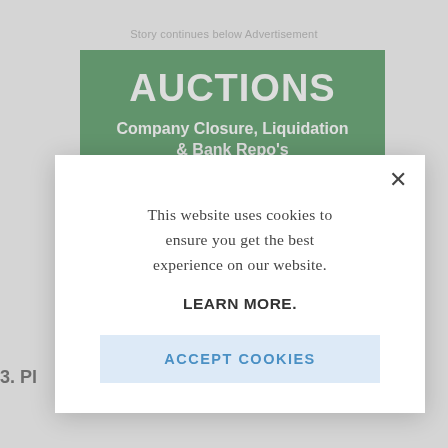Story continues below Advertisement
[Figure (other): Auction advertisement banner with green background showing 'AUCTIONS' and 'Company Closure, Liquidation & Bank Repo's']
This website uses cookies to ensure you get the best experience on our website.
LEARN MORE.
ACCEPT COOKIES
3. Pl